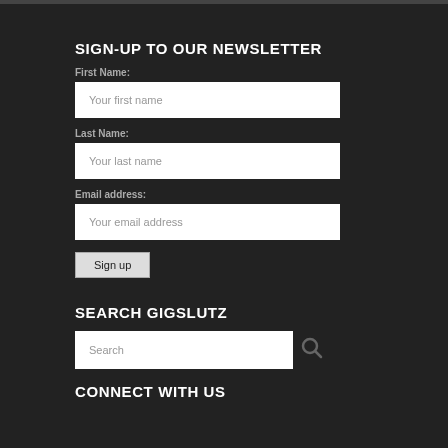SIGN-UP TO OUR NEWSLETTER
First Name:
[Figure (screenshot): Text input field with placeholder 'Your first name']
Last Name:
[Figure (screenshot): Text input field with placeholder 'Your last name']
Email address:
[Figure (screenshot): Text input field with placeholder 'Your email address']
Sign up
SEARCH GIGSLUTZ
[Figure (screenshot): Search input field with placeholder 'Search' and a search icon button]
CONNECT WITH US